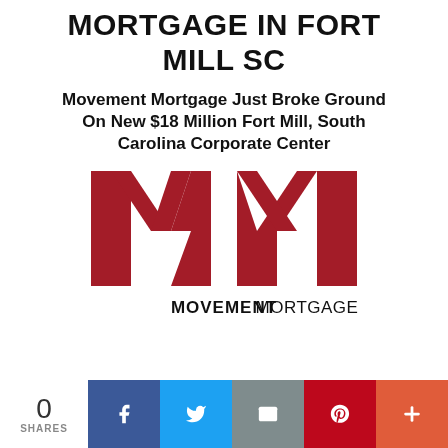MORTGAGE IN FORT MILL SC
Movement Mortgage Just Broke Ground On New $18 Million Fort Mill, South Carolina Corporate Center
[Figure (logo): Movement Mortgage logo — large red MM lettermark above the text MOVEMENTMORTGAGE in black]
0 SHARES
[Figure (infographic): Social share bar with Facebook, Twitter, Email, Pinterest, and More buttons]